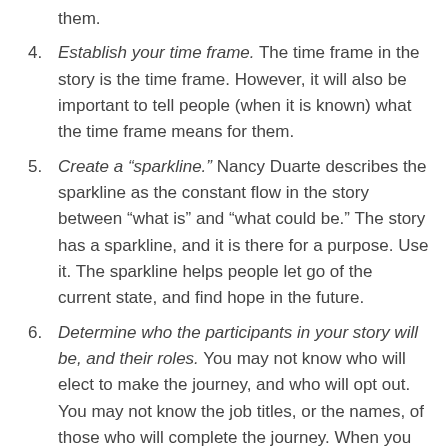them.
4. Establish your time frame. The time frame in the story is the time frame. However, it will also be important to tell people (when it is known) what the time frame means for them.
5. Create a “sparkline.” Nancy Duarte describes the sparkline as the constant flow in the story between “what is” and “what could be.” The story has a sparkline, and it is there for a purpose. Use it. The sparkline helps people let go of the current state, and find hope in the future.
6. Determine who the participants in your story will be, and their roles. You may not know who will elect to make the journey, and who will opt out. You may not know the job titles, or the names, of those who will complete the journey. When you know these things, they should be addressed. In the meantime,